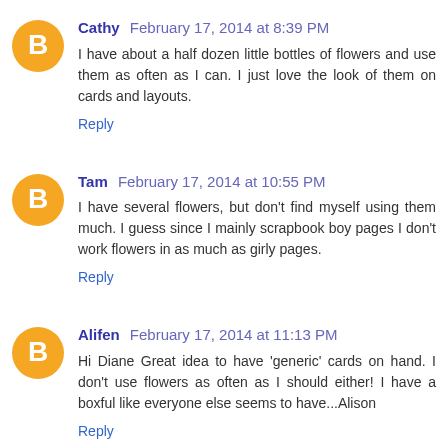Cathy February 17, 2014 at 8:39 PM
I have about a half dozen little bottles of flowers and use them as often as I can. I just love the look of them on cards and layouts.
Reply
Tam February 17, 2014 at 10:55 PM
I have several flowers, but don't find myself using them much. I guess since I mainly scrapbook boy pages I don't work flowers in as much as girly pages.
Reply
Alifen February 17, 2014 at 11:13 PM
Hi Diane Great idea to have 'generic' cards on hand. I don't use flowers as often as I should either! I have a boxful like everyone else seems to have...Alison
Reply